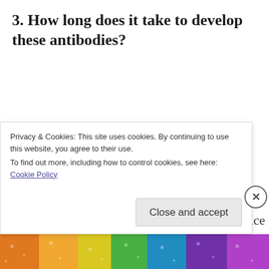3. How long does it take to develop these antibodies?
I get regular calls from people asking questions about COVID-19. In the beginning of the pandemic these questions mainly centered around questions of who should get tested or seek medical advice
Privacy & Cookies: This site uses cookies. By continuing to use this website, you agree to their use.
To find out more, including how to control cookies, see here: Cookie Policy
Close and accept
[Figure (photo): Colorful decorative image strip at bottom of page with multicolored pattern]